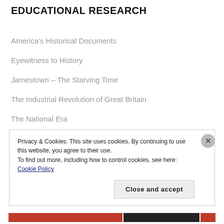EDUCATIONAL RESEARCH
America's Historical Documents
Eyewitness to History
Jamestown – The Starving Time
The Industrial Revolution of Great Britain
The National Era
The Oregon Trail Game
Privacy & Cookies: This site uses cookies. By continuing to use this website, you agree to their use.
To find out more, including how to control cookies, see here: Cookie Policy